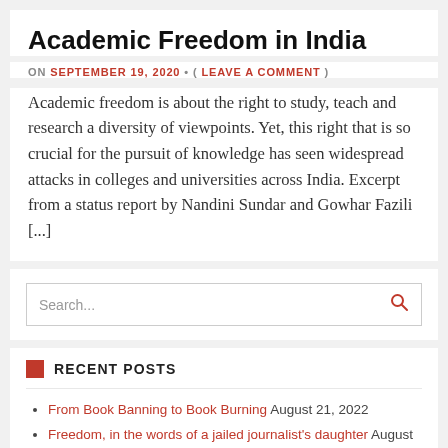Academic Freedom in India
ON SEPTEMBER 19, 2020 • ( LEAVE A COMMENT )
Academic freedom is about the right to study, teach and research a diversity of viewpoints. Yet, this right that is so crucial for the pursuit of knowledge has seen widespread attacks in colleges and universities across India. Excerpt from a status report by Nandini Sundar and Gowhar Fazili [...]
Search...
RECENT POSTS
From Book Banning to Book Burning August 21, 2022
Freedom, in the words of a jailed journalist's daughter August 15, 2022